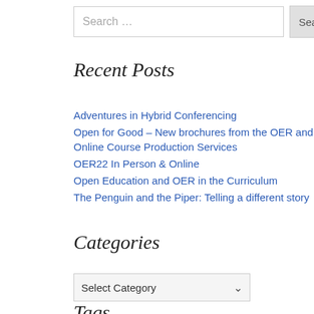Search …
Recent Posts
Adventures in Hybrid Conferencing
Open for Good – New brochures from the OER and Online Course Production Services
OER22 In Person & Online
Open Education and OER in the Curriculum
The Penguin and the Piper: Telling a different story
Categories
Select Category
Tags